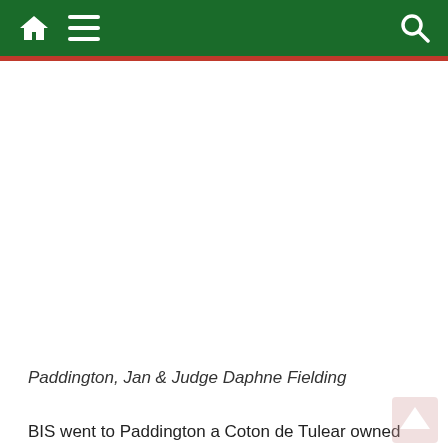Navigation bar with home, menu, and search icons
[Figure (photo): Photograph of Paddington, Jan and Judge Daphne Fielding — a Coton de Tulear dog with two people at a show]
Paddington, Jan & Judge Daphne Fielding
BIS went to Paddington a Coton de Tulear owned by Jan & Ken Scott and Reserve BIS to Hector. 1st in the Havanese Class was Bailey owned by Nicola